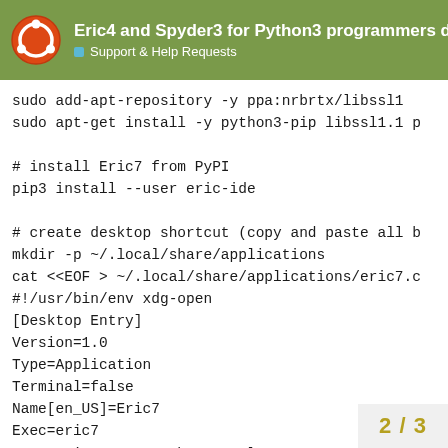Eric4 and Spyder3 for Python3 programmers do... | Support & Help Requests
sudo add-apt-repository -y ppa:nrbrtx/libssl1
sudo apt-get install -y python3-pip libssl1.1 p

# install Eric7 from PyPI
pip3 install --user eric-ide

# create desktop shortcut (copy and paste all b
mkdir -p ~/.local/share/applications
cat <<EOF > ~/.local/share/applications/eric7.c
#!/usr/bin/env xdg-open
[Desktop Entry]
Version=1.0
Type=Application
Terminal=false
Name[en_US]=Eric7
Exec=eric7
Categories=Qt;X-Python;Development:TDF:
Icon=/home/$USER/.local/share/.
Icon[en_US]=/home/$USER/.local.
2 / 3